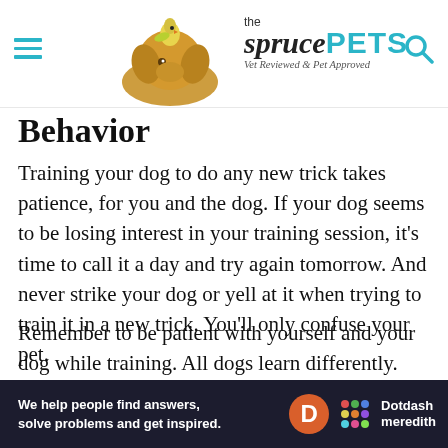the spruce PETS — Vet Reviewed & Pet Approved
Behavior
Training your dog to do any new trick takes patience, for you and the dog. If your dog seems to be losing interest in your training session, it's time to call it a day and try again tomorrow. And never strike your dog or yell at it when trying to train it in a new trick. You'll only confuse your pet.
Remember to be patient with yourself and your dog while training. All dogs learn differently. Keep training sessions short and upbeat, and be
[Figure (logo): Dotdash Meredith advertisement banner — dark background with logo, D circle icon, and colorful dots grid next to Dotdash meredith text]